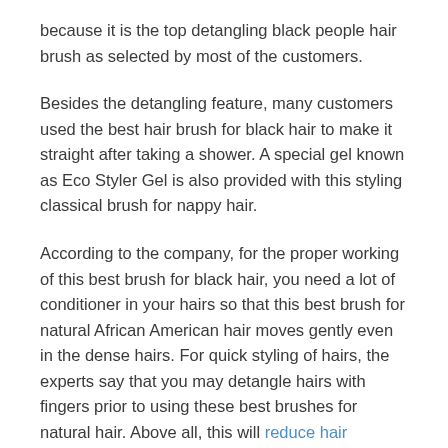because it is the top detangling black people hair brush as selected by most of the customers.
Besides the detangling feature, many customers used the best hair brush for black hair to make it straight after taking a shower. A special gel known as Eco Styler Gel is also provided with this styling classical brush for nappy hair.
According to the company, for the proper working of this best brush for black hair, you need a lot of conditioner in your hairs so that this best brush for natural African American hair moves gently even in the dense hairs. For quick styling of hairs, the experts say that you may detangle hairs with fingers prior to using these best brushes for natural hair. Above all, this will reduce hair breakage.